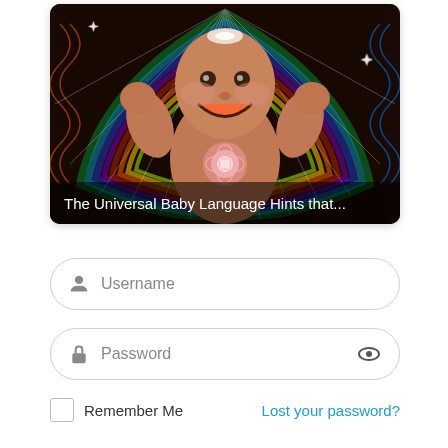[Figure (illustration): Psychedelic illustration of a smiling baby with raised fists, surrounded by colorful radiating rainbow and geometric patterns, with an ethereal glowing light source at the chest. The image has a dark semi-transparent caption bar at the bottom reading 'The Universal Baby Language Hints that...']
The Universal Baby Language Hints that...
Username (input field)
Password (input field with eye icon)
Remember Me
Lost your password?